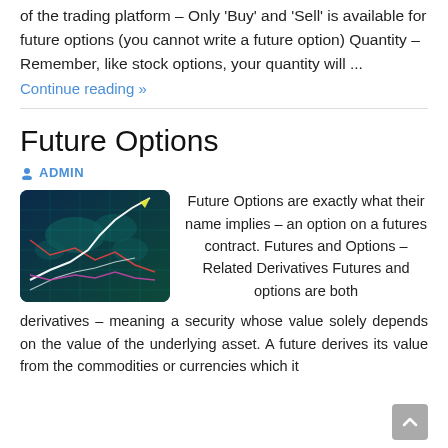of the trading platform – Only 'Buy' and 'Sell' is available for future options (you cannot write a future option) Quantity – Remember, like stock options, your quantity will ...
Continue reading »
Future Options
ADMIN
[Figure (photo): Financial chart with world map background, showing upward trending arrow lines on a digital display]
Future Options are exactly what their name implies – an option on a futures contract. Futures and Options – Related Derivatives Futures and options are both derivatives – meaning a security whose value solely depends on the value of the underlying asset. A future derives its value from the commodities or currencies which it